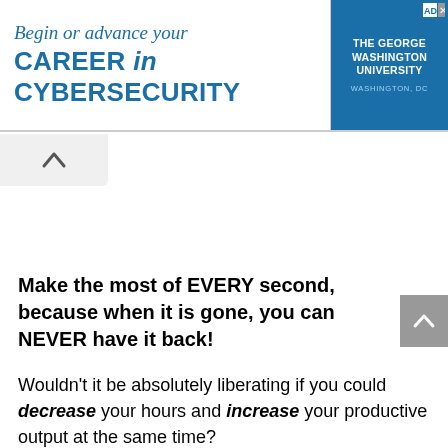[Figure (infographic): Advertisement banner for The George Washington University cybersecurity program. Left side shows text: 'Begin or advance your CAREER in CYBERSECURITY' in blue. Right side shows university name and location on blue background.]
Make the most of EVERY second, because when it is gone, you can NEVER have it back!
Wouldn't it be absolutely liberating if you could decrease your hours and increase your productive output at the same time?